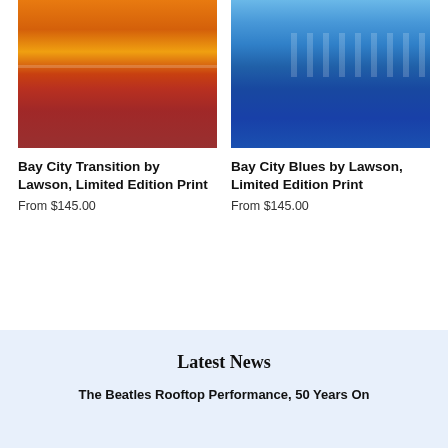[Figure (photo): Abstract art print - Bay City Transition, warm orange and red tones with a cityscape suggestion]
[Figure (photo): Abstract art print - Bay City Blues, blue tones with reflected city skyline]
Bay City Transition by Lawson, Limited Edition Print
From $145.00
Bay City Blues by Lawson, Limited Edition Print
From $145.00
Latest News
The Beatles Rooftop Performance, 50 Years On